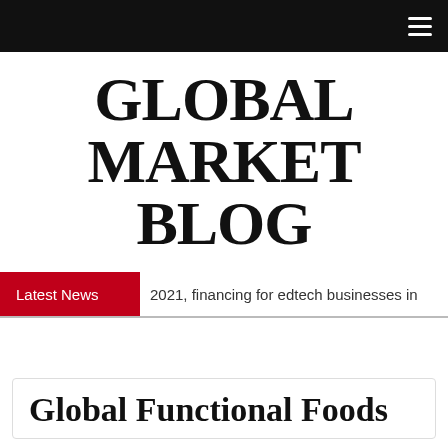GLOBAL MARKET BLOG
Latest News   2021, financing for edtech businesses in
Global Functional Foods